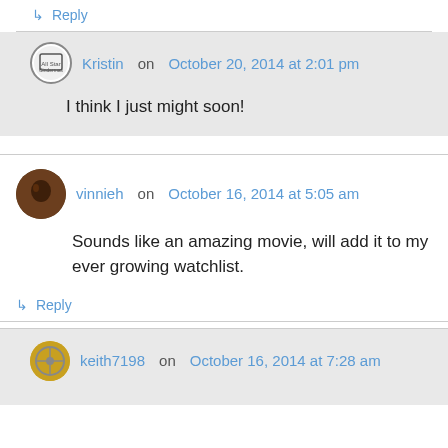↳ Reply
Kristin on October 20, 2014 at 2:01 pm
I think I just might soon!
vinnieh on October 16, 2014 at 5:05 am
Sounds like an amazing movie, will add it to my ever growing watchlist.
↳ Reply
keith7198 on October 16, 2014 at 7:28 am